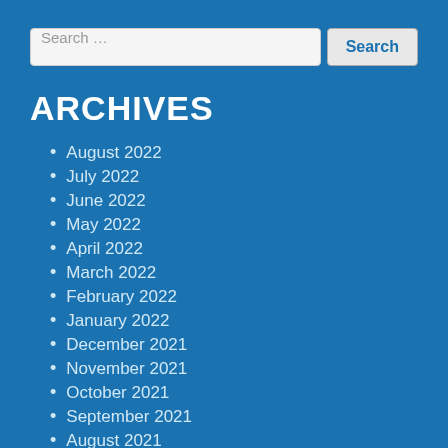Search …
ARCHIVES
August 2022
July 2022
June 2022
May 2022
April 2022
March 2022
February 2022
January 2022
December 2021
November 2021
October 2021
September 2021
August 2021
July 2021
June 2021